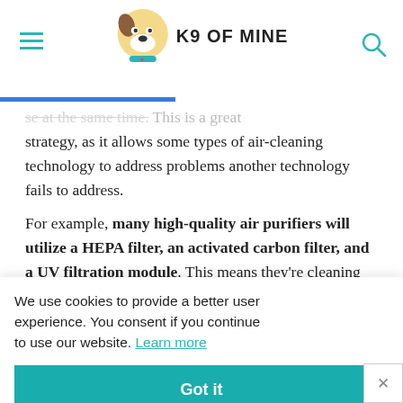K9 OF MINE
se at the same time. This is a great strategy, as it allows some types of air-cleaning technology to address problems another technology fails to address.
For example, many high-quality air purifiers will utilize a HEPA filter, an activated carbon filter, and a UV filtration module. This means they're cleaning the air in th... diff... ...erent r, and
We use cookies to provide a better user experience. You consent if you continue to use our website. Learn more
Got it
hould be avoided, so there's nothing about activated carbon